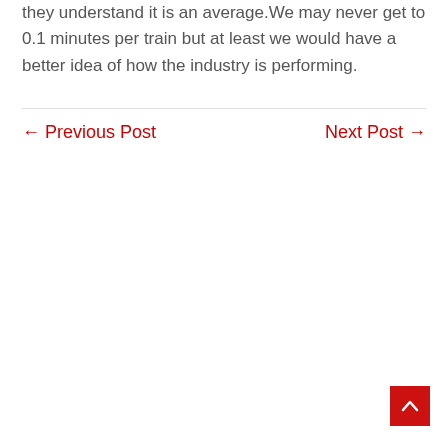they understand it is an average.We may never get to 0.1 minutes per train but at least we would have a better idea of how the industry is performing.
← Previous Post     Next Post →